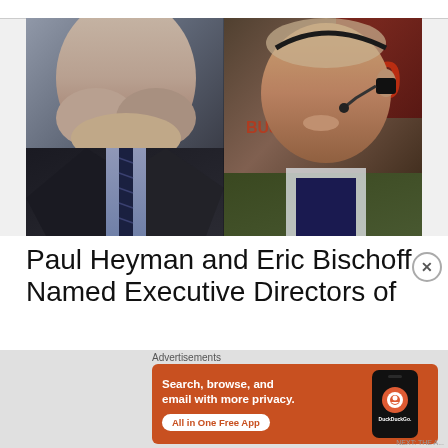[Figure (photo): Two men side by side: left shows a heavyset man in dark suit with blue shirt and striped tie; right shows an older man wearing a headset and olive jacket speaking near a microphone with a broadcast logo background.]
Paul Heyman and Eric Bischoff Named Executive Directors of
[Figure (infographic): DuckDuckGo advertisement banner in orange/red: 'Search, browse, and email with more privacy. All in One Free App' with a phone graphic showing DuckDuckGo logo.]